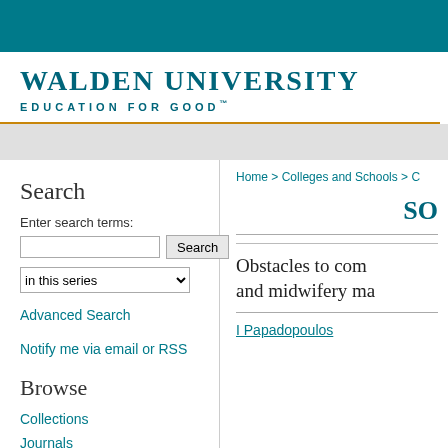[Figure (logo): Walden University logo with teal header bar and text 'WALDEN UNIVERSITY EDUCATION FOR GOOD']
Search
Enter search terms:
in this series
Advanced Search
Notify me via email or RSS
Browse
Collections
Journals
Home > Colleges and Schools > C
SO
Obstacles to com and midwifery ma
I Papadopoulos